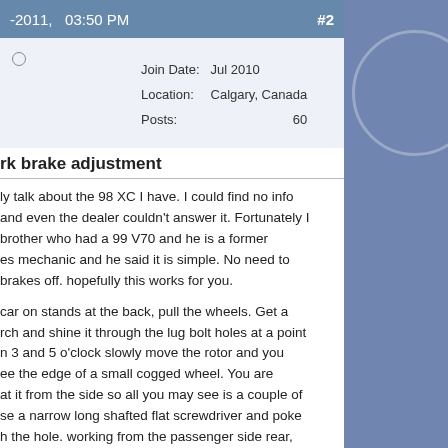-2011,   03:50 PM   #2
| Join Date: | Jul 2010 |
| Location: | Calgary, Canada |
| Posts: | 60 |
rk brake adjustment
ly talk about the 98 XC I have. I could find no info and even the dealer couldn't answer it. Fortunately I brother who had a 99 V70 and he is a former es mechanic and he said it is simple. No need to brakes off. hopefully this works for you.
car on stands at the back, pull the wheels. Get a rch and shine it through the lug bolt holes at a point n 3 and 5 o'clock slowly move the rotor and you ee the edge of a small cogged wheel. You are at it from the side so all you may see is a couple of se a narrow long shafted flat screwdriver and poke h the hole. working from the passenger side rear, he wheel up and away from you loosens the shoes ards you tightens the rod that pushes the shoes out o allow for wear. (I may have got that backwards).
he cables at the park brake lever first, then adjust es until they lock the hub. then back off 2-3 notches